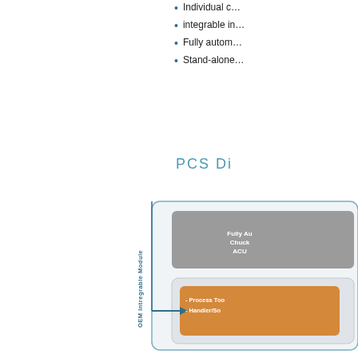Individual c…
integrable in…
Fully autom…
Stand-alone…
PCS Di
[Figure (flowchart): OEM Integrable Module diagram showing a Fully Automated Chuck/ACU block and a Process Tool/Handler/So block connected by an arrow, within a rounded rectangle border.]